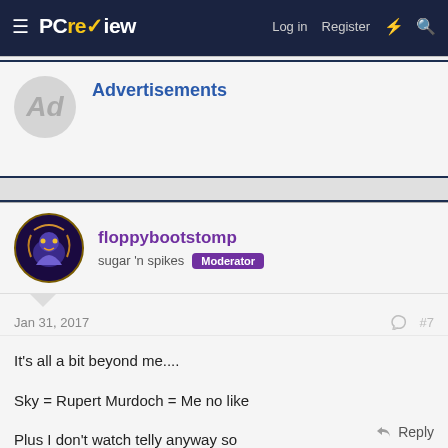≡ PCrev✓iew   Log in  Register  ⚡  🔍
Advertisements
floppybootstomp
sugar 'n spikes  Moderator
Jan 31, 2017   #7
It's all a bit beyond me....
Sky = Rupert Murdoch = Me no like
Plus I don't watch telly anyway so